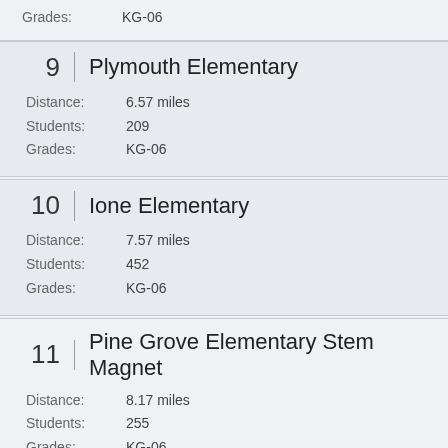Grades: KG-06
9 | Plymouth Elementary
Distance: 6.57 miles
Students: 209
Grades: KG-06
10 | Ione Elementary
Distance: 7.57 miles
Students: 452
Grades: KG-06
11 | Pine Grove Elementary Stem Magnet
Distance: 8.17 miles
Students: 255
Grades: KG-06
12 | Pioneer Elementary